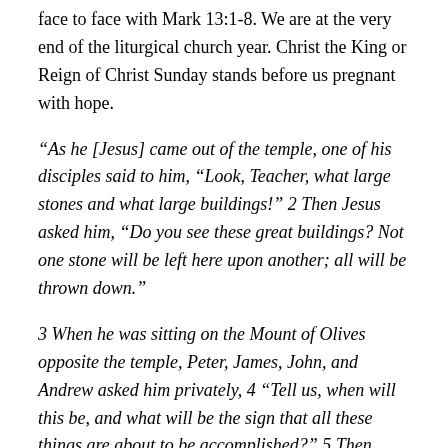face to face with Mark 13:1-8. We are at the very end of the liturgical church year. Christ the King or Reign of Christ Sunday stands before us pregnant with hope.
“As he [Jesus] came out of the temple, one of his disciples said to him, “Look, Teacher, what large stones and what large buildings!” 2 Then Jesus asked him, “Do you see these great buildings? Not one stone will be left here upon another; all will be thrown down.”
3 When he was sitting on the Mount of Olives opposite the temple, Peter, James, John, and Andrew asked him privately, 4 “Tell us, when will this be, and what will be the sign that all these things are about to be accomplished?” 5 Then Jesus began to say to them,